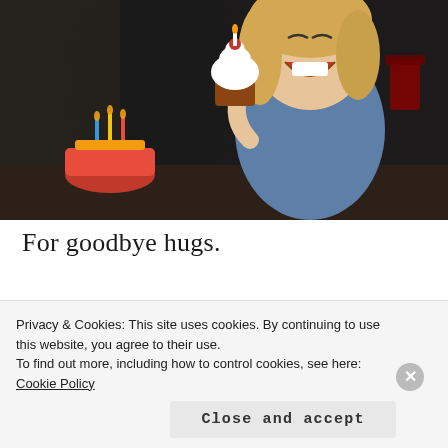[Figure (photo): A laughing young blonde child holding up a cupcake with a candle, sitting next to an adult in a black top at what appears to be a birthday celebration with cakes on the table.]
For goodbye hugs.
I am always a little sad when my
Privacy & Cookies: This site uses cookies. By continuing to use this website, you agree to their use.
To find out more, including how to control cookies, see here: Cookie Policy
Close and accept